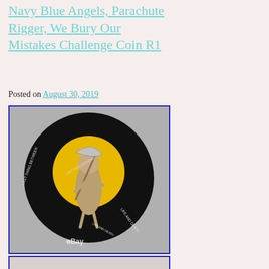Navy Blue Angels, Parachute Rigger, We Bury Our Mistakes Challenge Coin R1
Posted on August 30, 2019
[Figure (photo): A challenge coin with black border and yellow circle center, featuring a grim reaper figure holding a scythe. Text reads 'LAST THING BETWEEN' and 'LIFE AND DEATH'. eBay watermark visible.]
[Figure (photo): Partial view of the reverse side of the challenge coin, mostly grey/light colored, cut off at bottom of page.]